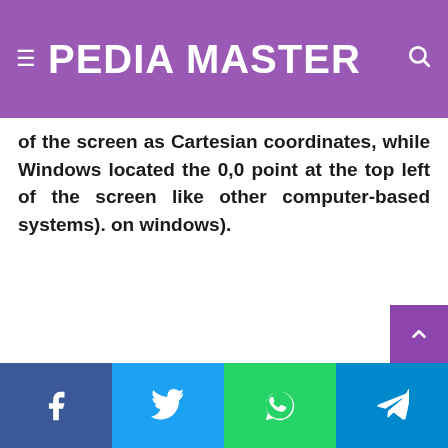PEDIA MASTER
of the screen as Cartesian coordinates, while Windows located the 0,0 point at the top left of the screen like other computer-based systems). on windows).
Facebook, Twitter, WhatsApp, Telegram share buttons